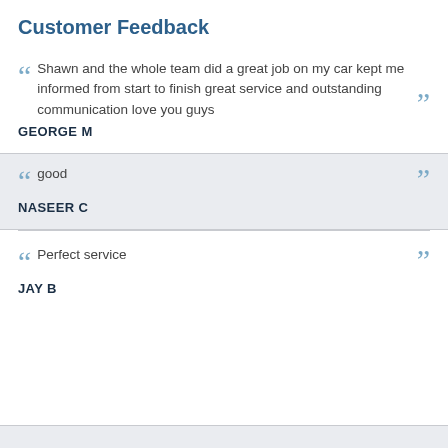Customer Feedback
Shawn and the whole team did a great job on my car kept me informed from start to finish great service and outstanding communication love you guys
GEORGE M
good
NASEER C
Perfect service
JAY B